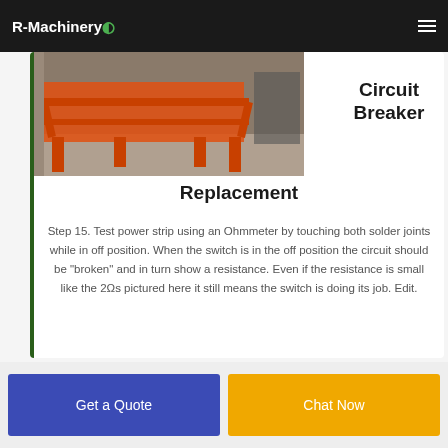R-Machinery
[Figure (photo): Photo of orange industrial machinery/conveyor structure on a concrete floor, and a Circuit Breaker label in the top right.]
Replacement
Step 15. Test power strip using an Ohmmeter by touching both solder joints while in off position. When the switch is in the off position the circuit should be "broken" and in turn show a resistance. Even if the resistance is small like the 2Ωs pictured here it still means the switch is doing its job. Edit.
Get a Quote
Chat Now